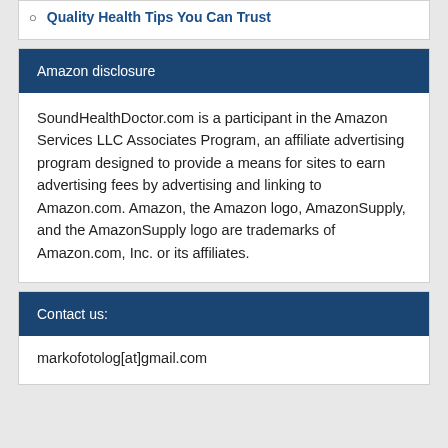Quality Health Tips You Can Trust
Amazon disclosure
SoundHealthDoctor.com is a participant in the Amazon Services LLC Associates Program, an affiliate advertising program designed to provide a means for sites to earn advertising fees by advertising and linking to Amazon.com. Amazon, the Amazon logo, AmazonSupply, and the AmazonSupply logo are trademarks of Amazon.com, Inc. or its affiliates.
Contact us:
markofotolog[at]gmail.com